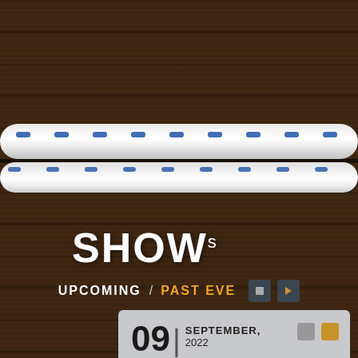[Figure (photo): Dark brown wooden plank background with white and blue rope/lace running horizontally across the middle of the image]
SHOWs NEXT CRUISE?
UPCOMING / PAST EVE
09| SEPTEMBER, 2022  OLD WORLD